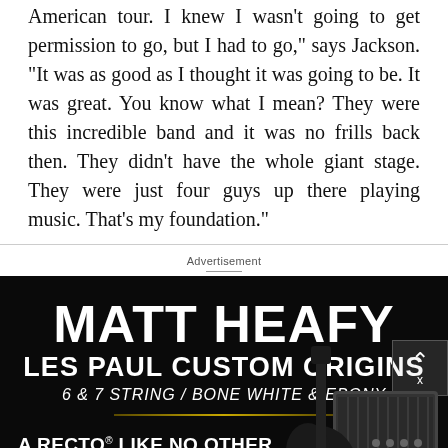American tour. I knew I wasn't going to get permission to go, but I had to go," says Jackson. "It was as good as I thought it was going to be. It was great. You know what I mean? They were this incredible band and it was no frills back then. They didn't have the whole giant stage. They were just four guys up there playing music. That's my foundation."
Advertisement
[Figure (infographic): Advertisement for Gibson Matt Heafy Les Paul Custom Origins guitars. Dark background with text: MATT HEAFY / LES PAUL CUSTOM ORIGINS / 6 & 7 STRING / BONE WHITE & EBONY. Also features a Mesa/Boogie Badlander amplifier ad section: A RECTO LIKE NO OTHER / THE BADLANDER SERIES / LEARN MORE button / MESA/BOOGIE logo. Decorative gold horizontal line. Ad close button (caret ^ X) in top right corner. Guitar and amp imagery on right side.]